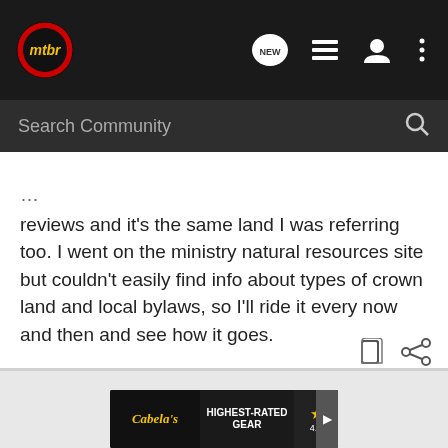mtbr navigation bar with logo, NEW, list, user, and more icons
Search Community
reviews and it's the same land I was referring too. I went on the ministry natural resources site but couldn't easily find info about types of crown land and local bylaws, so I'll ride it every now and then and see how it goes.
[Figure (screenshot): Cabela's Highest-Rated Gear advertisement banner with star rating 4.9]
Cabela's HIGHEST-RATED GEAR 4.9